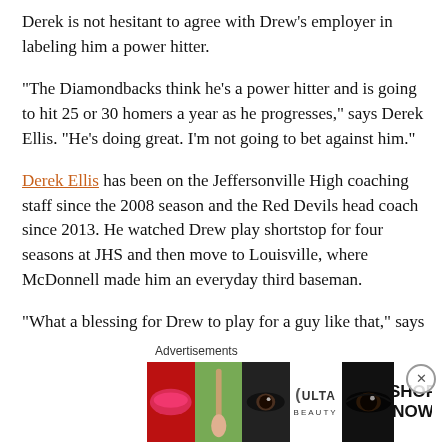Derek is not hesitant to agree with Drew's employer in labeling him a power hitter.
“The Diamondbacks think he’s a power hitter and is going to hit 25 or 30 homers a year as he progresses,” says Derek Ellis. “He’s doing great. I’m not going to bet against him.”
Derek Ellis has been on the Jeffersonville High coaching staff since the 2008 season and the Red Devils head coach since 2013. He watched Drew play shortstop for four seasons at JHS and then move to Louisville, where McDonnell made him an everyday third baseman.
“What a blessing for Drew to play for a guy like that,” says Derek Ellis of McDonnell. “What you see is what you get. He’s
Advertisements
[Figure (other): Ulta Beauty advertisement banner showing makeup-themed photos (lips, brush, eyes) with ULTA logo and SHOP NOW call to action]